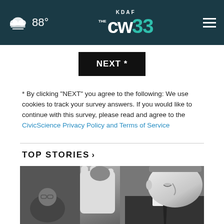KDAF CW 33 — 88°
NEXT *
* By clicking "NEXT" you agree to the following: We use cookies to track your survey answers. If you would like to continue with this survey, please read and agree to the CivicScience Privacy Policy and Terms of Service
TOP STORIES ›
[Figure (photo): Black and white photograph of an older man in a suit raising his right hand, apparently being sworn in, with other figures visible behind him.]